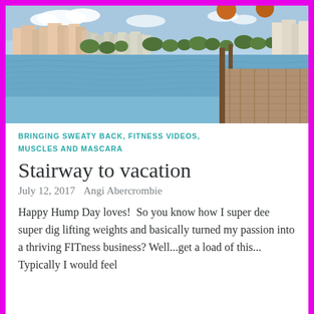[Figure (photo): A waterfront scene showing a wooden dock/pier on the right, calm blue water in the middle, and a city skyline with tall buildings and palm trees in the background under a partly cloudy sky. Two orange/brown spherical objects are visible at the top of the image.]
BRINGING SWEATY BACK, FITNESS VIDEOS, MUSCLES AND MASCARA
Stairway to vacation
July 12, 2017   Angi Abercrombie
Happy Hump Day loves!  So you know how I super dee super dig lifting weights and basically turned my passion into a thriving FITness business? Well...get a load of this... Typically I would feel